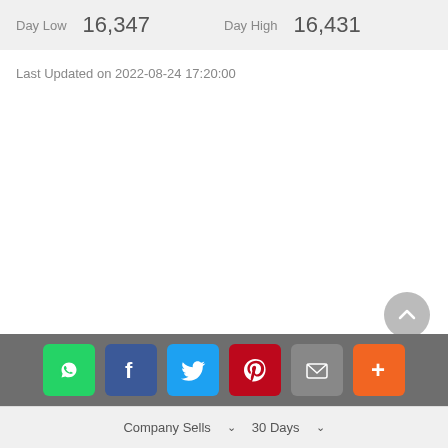| Day Low | Day High |
| --- | --- |
| 16,347 | 16,431 |
Last Updated on 2022-08-24 17:20:00
[Figure (infographic): Social share bar with WhatsApp, Facebook, Twitter, Pinterest, Email, and More buttons]
Company Sells  ∨    30 Days  ∨